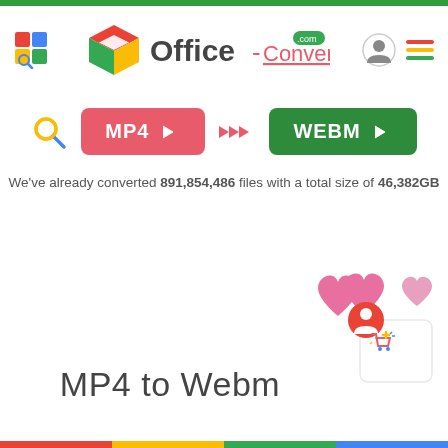[Figure (screenshot): Office-Converter.com website header with logo]
[Figure (screenshot): MP4 to WEBM converter UI with pink MP4 button, arrows, and green WEBM button]
We've already converted 891,854,486 files with a total size of 46,382GB
[Figure (illustration): Pink hearts illustration and shopping cart icon in bottom-right corner]
MP4 to Webm